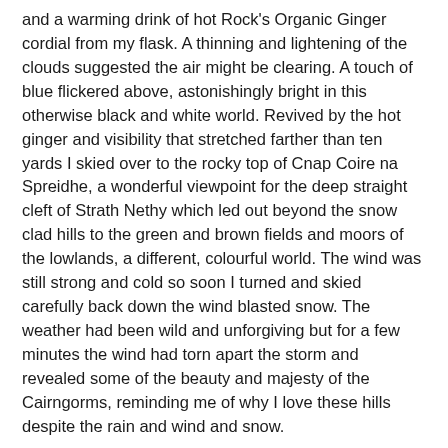and a warming drink of hot Rock's Organic Ginger cordial from my flask. A thinning and lightening of the clouds suggested the air might be clearing. A touch of blue flickered above, astonishingly bright in this otherwise black and white world. Revived by the hot ginger and visibility that stretched farther than ten yards I skied over to the rocky top of Cnap Coire na Spreidhe, a wonderful viewpoint for the deep straight cleft of Strath Nethy which led out beyond the snow clad hills to the green and brown fields and moors of the lowlands, a different, colourful world. The wind was still strong and cold so soon I turned and skied carefully back down the wind blasted snow. The weather had been wild and unforgiving but for a few minutes the wind had torn apart the storm and revealed some of the beauty and majesty of the Cairngorms, reminding me of why I love these hills despite the rain and wind and snow.
The picture shows the weather station on the summit of Cairn Gorm. Photo info: Canon EOS 350D, Canon EF-S 18-55 mm IS@ 18mm, f8@1/2000, ISO 200, raw file converted to JPEG in DxO Optics Pro.